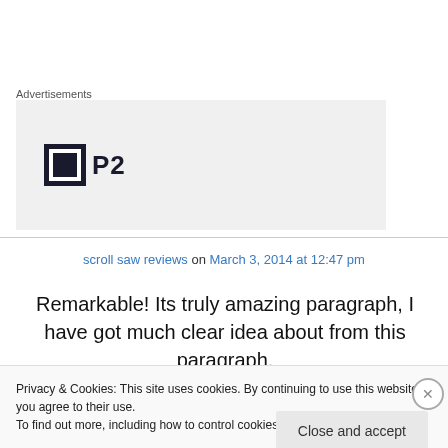Advertisements
[Figure (logo): P2 logo with dark square icon containing a white bordered inner square, followed by bold text 'P2' on a light gray background]
scroll saw reviews on March 3, 2014 at 12:47 pm
Remarkable! Its truly amazing paragraph, I have got much clear idea about from this paragraph.
Privacy & Cookies: This site uses cookies. By continuing to use this website, you agree to their use.
To find out more, including how to control cookies, see here: Cookie Policy
Close and accept